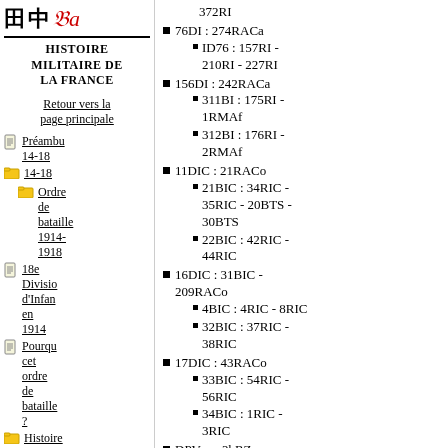Histoire militaire de la France
Retour vers la page principale
Préambu 14-18
Ordre de bataille 1914-1918
18e Division d'Infanterie en 1914
Pourquoi cet ordre de bataille ?
Histoire des...
372RI
76DI : 274RACa
ID76 : 157RI - 210RI - 227RI
156DI : 242RACa
311BI : 175RI - 1RMAf
312BI : 176RI - 2RMAf
11DIC : 21RACo
21BIC : 34RIC - 35RIC - 20BTS - 30BTS
22BIC : 42RIC - 44RIC
16DIC : 31BIC - 209RACo
4BIC : 4RIC - 8RIC
32BIC : 37RIC - 38RIC
17DIC : 43RACo
33BIC : 54RIC - 56RIC
34BIC : 1RIC - 3RIC
DPVen : 2bRZ
Maroc : 1RChA - 2BILAf - 3BILAf
Tunisie :